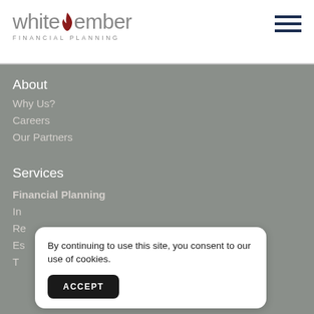[Figure (logo): White Ember Financial Planning logo with flame icon]
[Figure (other): Hamburger menu icon (three horizontal dark navy bars)]
About
Why Us?
Careers
Our Partners
Services
Financial Planning
In
Re
Es
T
By continuing to use this site, you consent to our use of cookies.
ACCEPT